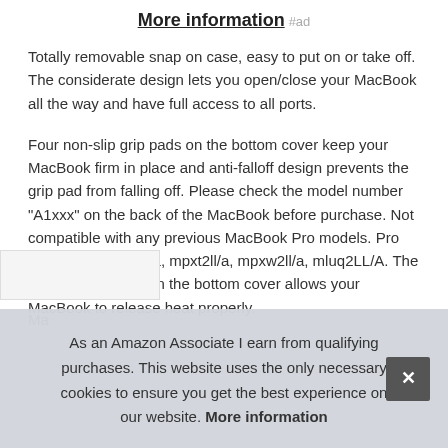More information #ad
Totally removable snap on case, easy to put on or take off. The considerate design lets you open/close your MacBook all the way and have full access to all ports.
Four non-slip grip pads on the bottom cover keep your MacBook firm in place and anti-falloff design prevents the grip pad from falling off. Please check the model number "A1xxx" on the back of the MacBook before purchase. Not compatible with any previous MacBook Pro models. Pro 13" 2016 - mlh12ll/a, mpxt2ll/a, mpxw2ll/a, mluq2LL/A. The ventilation design on the bottom cover allows your MacBook to release heat properly.
As an Amazon Associate I earn from qualifying purchases. This website uses the only necessary cookies to ensure you get the best experience on our website. More information